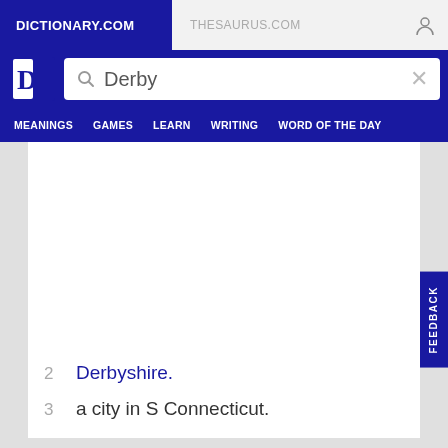DICTIONARY.COM | THESAURUS.COM
[Figure (screenshot): Dictionary.com logo D icon in white on dark blue background]
Derby (search input)
MEANINGS  GAMES  LEARN  WRITING  WORD OF THE DAY
2  Derbyshire.
3  a city in S Connecticut.